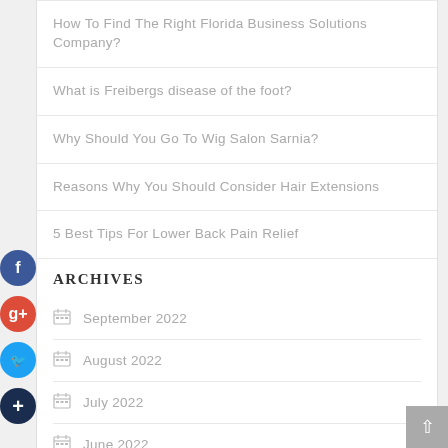How To Find The Right Florida Business Solutions Company?
What is Freibergs disease of the foot?
Why Should You Go To Wig Salon Sarnia?
Reasons Why You Should Consider Hair Extensions
5 Best Tips For Lower Back Pain Relief
ARCHIVES
September 2022
August 2022
July 2022
June 2022